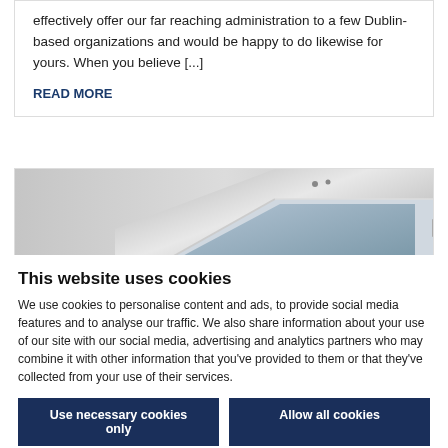effectively offer our far reaching administration to a few Dublin-based organizations and would be happy to do likewise for yours. When you believe [...]
READ MORE
[Figure (photo): Photo of a smartphone lying on a flat surface, viewed from the corner/edge angle showing the screen and metal body]
This website uses cookies
We use cookies to personalise content and ads, to provide social media features and to analyse our traffic. We also share information about your use of our site with our social media, advertising and analytics partners who may combine it with other information that you've provided to them or that they've collected from your use of their services.
Use necessary cookies only
Allow all cookies
Show details